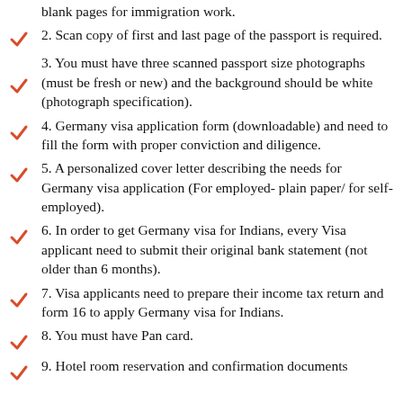blank pages for immigration work.
2. Scan copy of first and last page of the passport is required.
3. You must have three scanned passport size photographs (must be fresh or new) and the background should be white (photograph specification).
4. Germany visa application form (downloadable) and need to fill the form with proper conviction and diligence.
5. A personalized cover letter describing the needs for Germany visa application (For employed- plain paper/ for self-employed).
6. In order to get Germany visa for Indians, every Visa applicant need to submit their original bank statement (not older than 6 months).
7. Visa applicants need to prepare their income tax return and form 16 to apply Germany visa for Indians.
8. You must have Pan card.
9. Hotel room reservation and confirmation documents